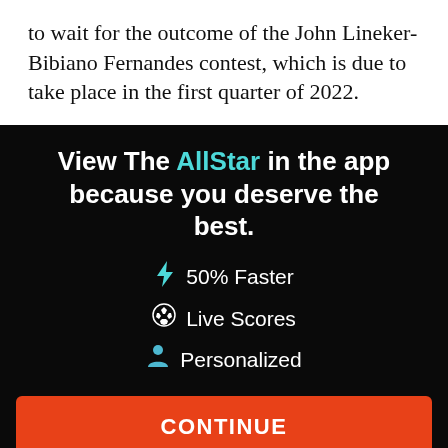to wait for the outcome of the John Lineker-Bibiano Fernandes contest, which is due to take place in the first quarter of 2022.
[Figure (infographic): App promotion banner on black background with headline 'View The AllStar in the app because you deserve the best.' followed by three feature bullet points: 50% Faster, Live Scores, Personalized, a red CONTINUE button, and a 'or go to the mobile site' link.]